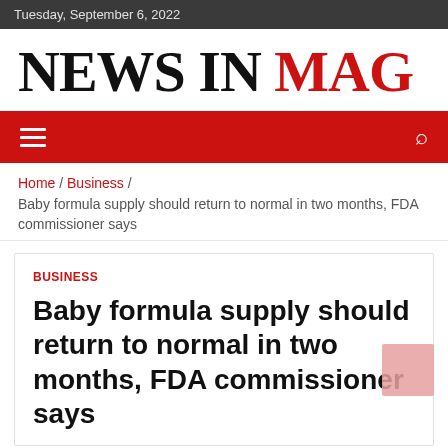Tuesday, September 6, 2022
NEWS IN MAG
Home / Business / Baby formula supply should return to normal in two months, FDA commissioner says
BUSINESS
Baby formula supply should return to normal in two months, FDA commissioner says